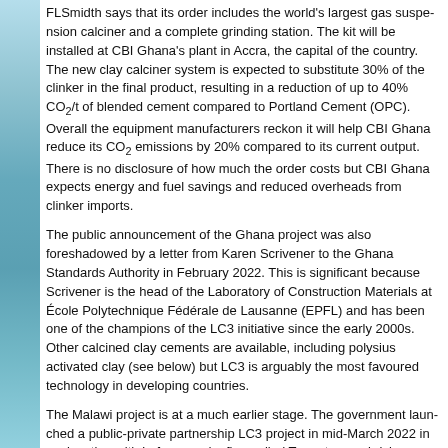FLSmidth says that its order includes the world's largest gas suspension calciner and a complete grinding station. The kit will be installed at CBI Ghana's plant in Accra, the capital of the country. The new clay calciner system is expected to substitute 30% of the clinker in the final product, resulting in a reduction of up to 40% CO₂/t of blended cement compared to Portland Cement (OPC). Overall the equipment manufacturers reckon it will help CBI Ghana reduce its CO₂ emissions by 20% compared to its current output. The company has not said how much the order costs but CBI Ghana expects energy and fuel savings and reduced overheads from clinker imports.
The public announcement of the Ghana project was also foreshadowed by a letter from Karen Scrivener to the Ghana Standards Authority in February 2022. This is significant because Scrivener is the head of the Laboratory of Construction Materials at École Polytechnique Fédérale de Lausanne (EPFL) and has been one of the champions of the LC3 initiative since the early 2000s. Other calcined clay cements are available, including polysius activated clay (see below) but LC3 is arguably the most favoured technology in developing countries.
The Malawi project is at a much earlier stage. The government launched a public-private partnership LC3 project in mid-March 2022 in conjunction with Lafarge and a firm called Terrastone, a brick manufacturer. The Ministry of Mining is currently signing a memorandum of understanding with the Gesellschaft für Internationale Zusammenarbeit (GIZ), a German development agency. India-based Tara Engineering has also been linked to the project.
One thing to note about the Malawi project is that it is the first calcined clay cement industry based in East Africa. All the other African ones are based in West Africa. Some projects in this region are run by Turkey-based Oyak Cimento and it